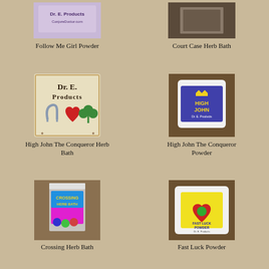[Figure (photo): Follow Me Girl Powder product image with Dr. E. Products label on purple/lavender background]
Follow Me Girl Powder
[Figure (photo): Court Case Herb Bath product image]
Court Case Herb Bath
[Figure (logo): Dr. E. Products logo with horseshoe, red heart, and green shamrock on cream background]
High John The Conqueror Herb Bath
[Figure (photo): High John The Conqueror Powder product in white packet with purple label]
High John The Conqueror Powder
[Figure (photo): Crossing Herb Bath product in colorful plastic bag]
Crossing Herb Bath
[Figure (photo): Fast Luck Powder product in white packet with yellow label and heart]
Fast Luck Powder